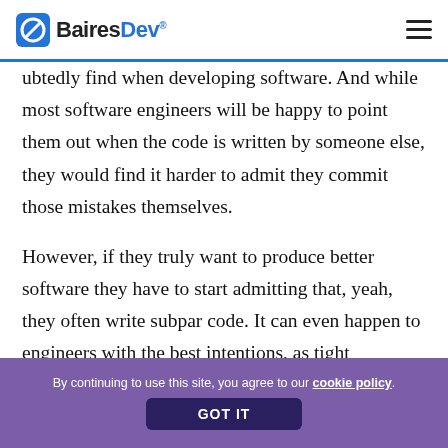BairesDev
ubtedly find when developing software. And while most software engineers will be happy to point them out when the code is written by someone else, they would find it harder to admit they commit those mistakes themselves.
However, if they truly want to produce better software they have to start admitting that, yeah, they often write subpar code. It can even happen to engineers with the best intentions, as tight deadlines
By continuing to use this site, you agree to our cookie policy.
GOT IT